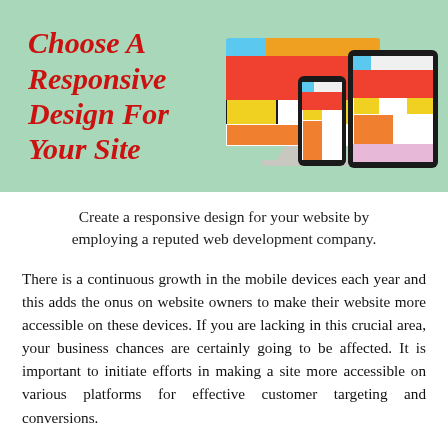[Figure (infographic): Banner with mint green background showing 'Choose A Responsive Design For Your Site' in bold italic red text on the left, and illustrations of a desktop monitor, tablet, and mobile phone with colorful responsive layout previews on the right.]
Create a responsive design for your website by employing a reputed web development company.
There is a continuous growth in the mobile devices each year and this adds the onus on website owners to make their website more accessible on these devices. If you are lacking in this crucial area, your business chances are certainly going to be affected. It is important to initiate efforts in making a site more accessible on various platforms for effective customer targeting and conversions.
As per the Google search trends, more and more people are using mobile devices to surf sites and it